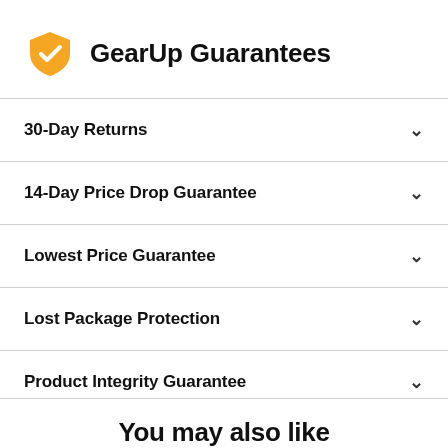GearUp Guarantees
30-Day Returns
14-Day Price Drop Guarantee
Lowest Price Guarantee
Lost Package Protection
Product Integrity Guarantee
You may also like